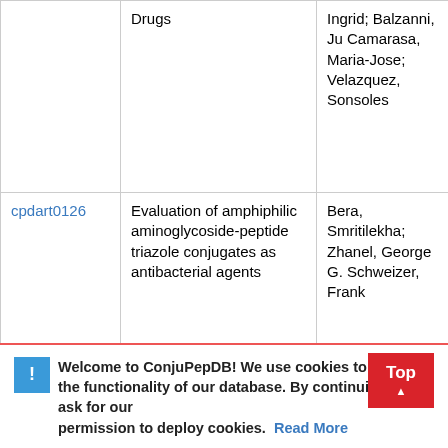| ID | Title | Authors |
| --- | --- | --- |
|  | Drugs | Ingrid; Balzanni, Ju Camarasa, Maria-Jose; Velazquez, Sonsoles |
| cpdart0126 | Evaluation of amphiphilic aminoglycoside-peptide triazole conjugates as antibacterial agents | Bera, Smritilekha; Zhanel, George G. Schweizer, Frank |
| cpdart0127 | Synthesis of DOTA-Conjugated Multimeric [Tyr3]Octreotide Peptides via a Combination of Cu(I)-Catalyzed "Click"" Cycloaddition and Thio Acid/Sulfonyl Azide ""Sulfo-Click"" Amidation and Their in Vivo Evaluation" | Yim, Cheng-Bin; Dijkgraaf, Ingrid; Merkx, Remco; Versluis, Cees; Eel Annemarie; Mulder Gwenn E.; Rijkers, Dirk T. S.; Boerman Otto C.; Liskamp, R M. J. |
Welcome to ConjuPepDB! We use cookies to enhance the functionality of our database. By continuing we ask for your permission to deploy cookies. Read More